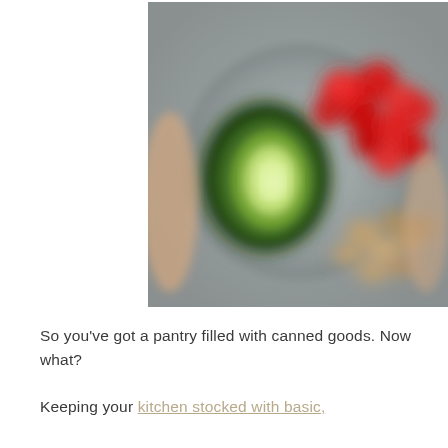[Figure (photo): A blurred photograph of a plate or bowl held in hands, containing halved avocado, cherry tomatoes, and what appears to be nuts or chickpeas, set against a grey background.]
So you've got a pantry filled with canned goods. Now what?
Keeping your kitchen stocked with basic,